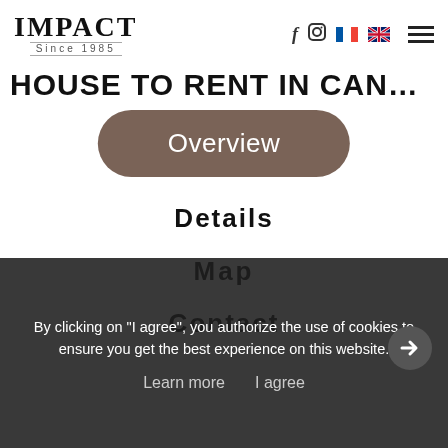IMPACT Since 1985
HOUSE TO RENT IN CANNES
Overview
Details
Map
Contact
By clicking on "I agree", you authorize the use of cookies to ensure you get the best experience on this website.
Learn more
I agree